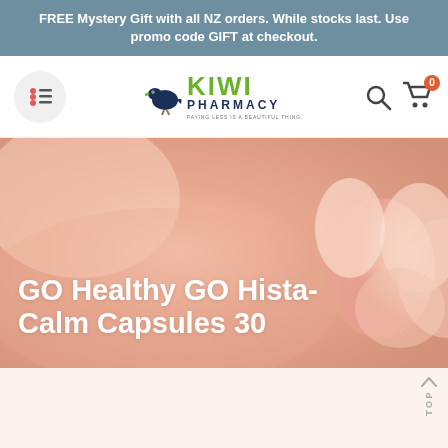FREE Mystery Gift with all NZ orders. While stocks last. Use promo code GIFT at checkout.
[Figure (logo): Kiwi Pharmacy logo with kiwi bird silhouette, green KIWI text, dark blue PHARMACY text, and tagline PAYING LESS IS A BEAUTIFUL THING.]
GO Healthy GO Hista-Calm Capsules 30
[Figure (photo): Close-up photo of a person's arm and hand holding a pink flower, with a soft peach/pink skin tone background.]